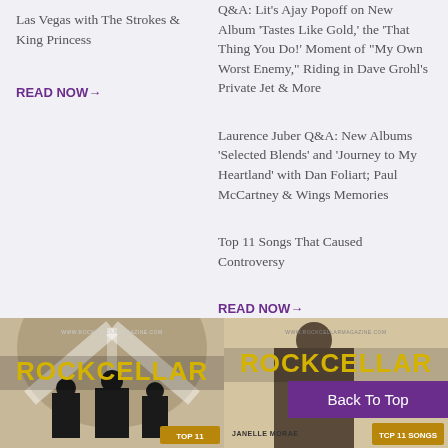Las Vegas with The Strokes & King Princess
READ NOW→
Q&A: Lit's Ajay Popoff on New Album 'Tastes Like Gold,' the 'That Thing You Do!' Moment of "My Own Worst Enemy," Riding in Dave Grohl's Private Jet & More
Laurence Juber Q&A: New Albums 'Selected Blends' and 'Journey to My Heartland' with Dan Foliart; Paul McCartney & Wings Memories
Top 11 Songs That Caused Controversy
READ NOW→
[Figure (photo): Rock Cellar Magazine cover showing band members with bright stage lights, TOP 11 SONGS label visible at bottom]
[Figure (photo): Rock Cellar Magazine cover showing Janelle Monae, TOP 11 SONGS label visible at bottom right]